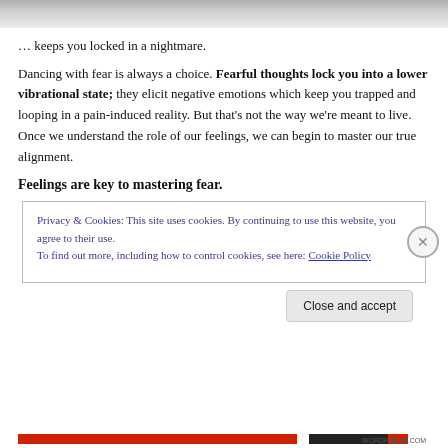[Figure (photo): Top portion of page showing a partially visible background image, dark textured surface]
… keeps you locked in a nightmare.
Dancing with fear is always a choice. Fearful thoughts lock you into a lower vibrational state; they elicit negative emotions which keep you trapped and looping in a pain-induced reality. But that's not the way we're meant to live. Once we understand the role of our feelings, we can begin to master our true alignment.
Feelings are key to mastering fear.
Privacy & Cookies: This site uses cookies. By continuing to use this website, you agree to their use.
To find out more, including how to control cookies, see here: Cookie Policy
Close and accept